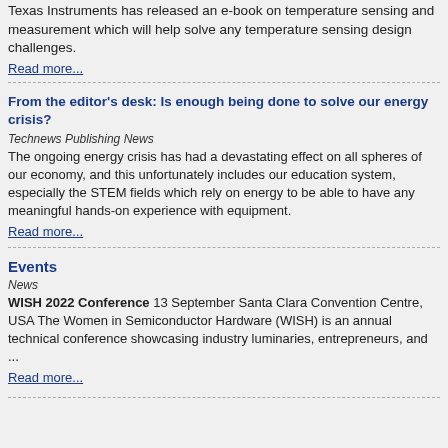Texas Instruments has released an e-book on temperature sensing and measurement which will help solve any temperature sensing design challenges.
Read more...
From the editor's desk: Is enough being done to solve our energy crisis?
Technews Publishing News
The ongoing energy crisis has had a devastating effect on all spheres of our economy, and this unfortunately includes our education system, especially the STEM fields which rely on energy to be able to have any meaningful hands-on experience with equipment.
Read more...
Events
News
WISH 2022 Conference 13 September Santa Clara Convention Centre, USA The Women in Semiconductor Hardware (WISH) is an annual technical conference showcasing industry luminaries, entrepreneurs, and ...
Read more...